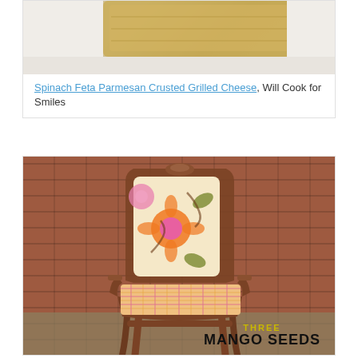[Figure (photo): Partial image of a wooden cutting board or furniture piece on a white surface, cropped at top of page]
Spinach Feta Parmesan Crusted Grilled Cheese, Will Cook for Smiles
[Figure (photo): A reupholstered vintage French-style wooden armchair with floral fabric on the back (orange, pink, and green flowers on cream background) and plaid fabric on the seat (pink/orange plaid). Chair is set against a red brick wall. Watermark reads THREE MANGO SEEDS.]